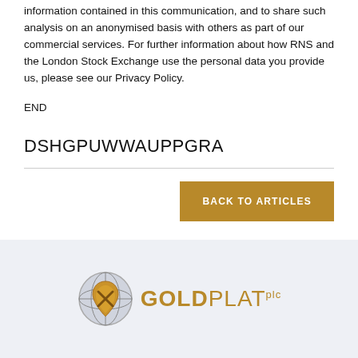information contained in this communication, and to share such analysis on an anonymised basis with others as part of our commercial services. For further information about how RNS and the London Stock Exchange use the personal data you provide us, please see our Privacy Policy.
END
DSHGPUWWAUPPGRA
BACK TO ARTICLES
[Figure (logo): Gold Plat plc logo with globe icon and gold/brown text]